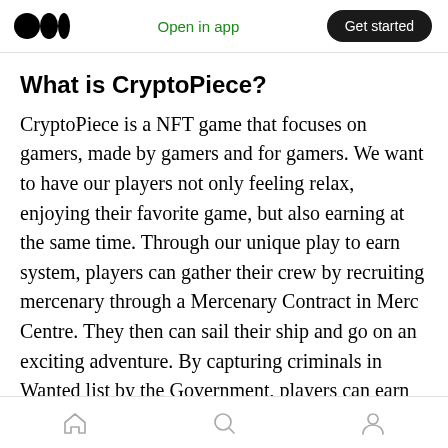Medium logo | Open in app | Get started
What is CryptoPiece?
CryptoPiece is a NFT game that focuses on gamers, made by gamers and for gamers. We want to have our players not only feeling relax, enjoying their favorite game, but also earning at the same time. Through our unique play to earn system, players can gather their crew by recruiting mercenary through a Mercenary Contract in Merc Centre. They then can sail their ship and go on an exciting adventure. By capturing criminals in Wanted list by the Government, players can earn Belly — ingame
Home | Search | Profile